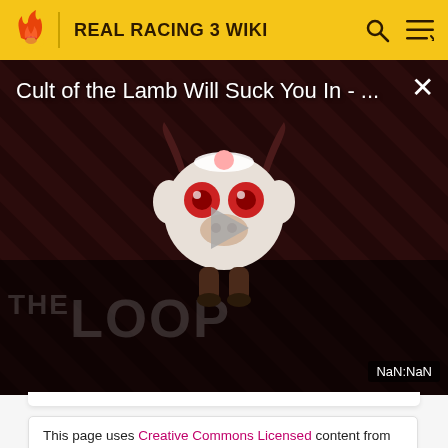REAL RACING 3 WIKI
[Figure (screenshot): Video player showing 'Cult of the Lamb Will Suck You In - ...' with a play button, mascot character, THE LOOP text, and NaN:NaN time display]
This page uses Creative Commons Licensed content from Wikipedia (view authors).